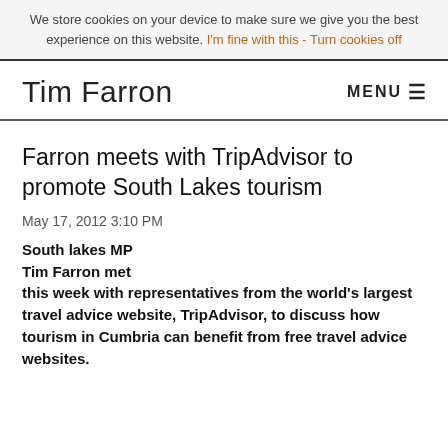We store cookies on your device to make sure we give you the best experience on this website. I'm fine with this - Turn cookies off
Tim Farron
Farron meets with TripAdvisor to promote South Lakes tourism
May 17, 2012 3:10 PM
South lakes MP Tim Farron met this week with representatives from the world's largest travel advice website, TripAdvisor, to discuss how tourism in Cumbria can benefit from free travel advice websites.